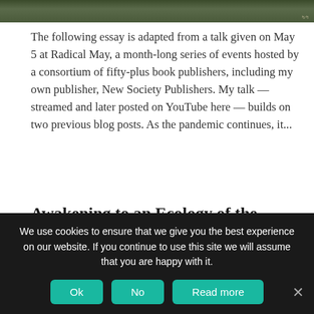[Figure (photo): Partial photo of trees/forest foliage at the top of the page, with a small watermark text in the bottom right corner.]
The following essay is adapted from a talk given on May 5 at Radical May, a month-long series of events hosted by a consortium of fifty-plus book publishers, including my own publisher, New Society Publishers. My talk — streamed and later posted on YouTube here — builds on two previous blog posts. As the pandemic continues, it...
Awakening to an Ecology of the Commons
May 25, 2020   No Comment
We use cookies to ensure that we give you the best experience on our website. If you continue to use this site we will assume that you are happy with it.
Ok   No   Read more